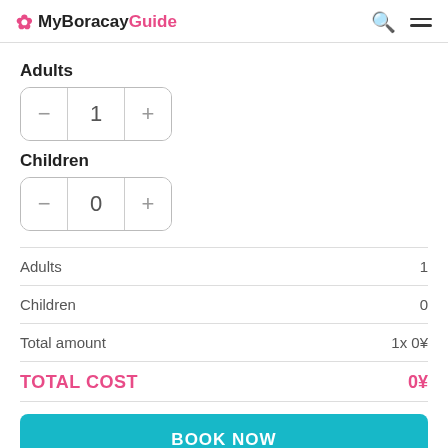MyBoracayGuide
Adults
— 1 +
Children
— 0 +
|  |  |
| --- | --- |
| Adults | 1 |
| Children | 0 |
| Total amount | 1x 0¥ |
TOTAL COST   0¥
BOOK NOW